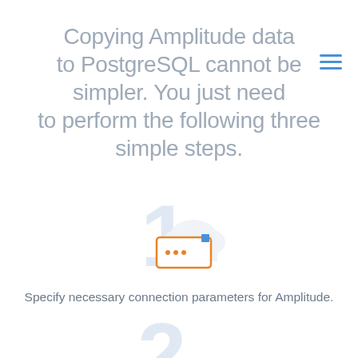Copying Amplitude data to PostgreSQL cannot be simpler. You just need to perform the following three simple steps.
[Figure (illustration): Step 1 illustration: large light-blue number '1' in background, with a white cloud icon and an orange-bordered connection/settings dialog box with three orange dots]
Specify necessary connection parameters for Amplitude.
[Figure (illustration): Step 2 illustration: partial view of light-blue number '2' at bottom of page]